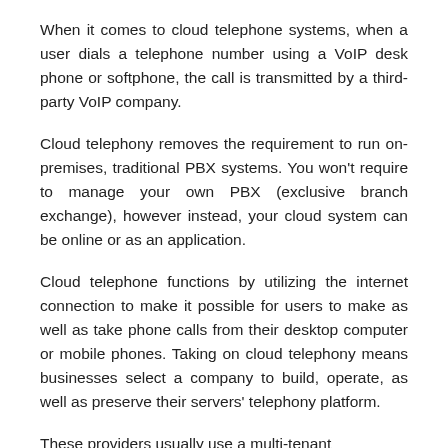When it comes to cloud telephone systems, when a user dials a telephone number using a VoIP desk phone or softphone, the call is transmitted by a third-party VoIP company.
Cloud telephony removes the requirement to run on-premises, traditional PBX systems. You won't require to manage your own PBX (exclusive branch exchange), however instead, your cloud system can be online or as an application.
Cloud telephone functions by utilizing the internet connection to make it possible for users to make as well as take phone calls from their desktop computer or mobile phones. Taking on cloud telephony means businesses select a company to build, operate, as well as preserve their servers' telephony platform.
These providers usually use a multi-tenant